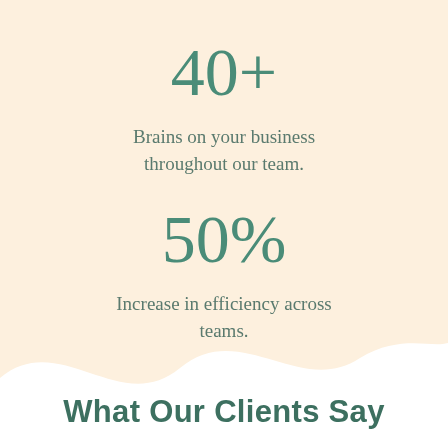40+
Brains on your business throughout our team.
50%
Increase in efficiency across teams.
What Our Clients Say